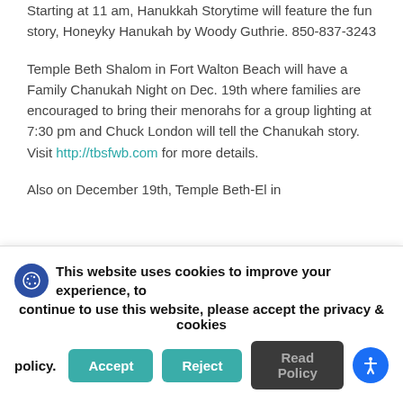Starting at 11 am, Hanukkah Storytime will feature the fun story, Honeyky Hanukah by Woody Guthrie. 850-837-3243
Temple Beth Shalom in Fort Walton Beach will have a Family Chanukah Night on Dec. 19th where families are encouraged to bring their menorahs for a group lighting at 7:30 pm and Chuck London will tell the Chanukah story. Visit http://tbsfwb.com for more details.
Also on December 19th, Temple Beth-El in
This website uses cookies to improve your experience, to continue to use this website, please accept the privacy & cookies policy.